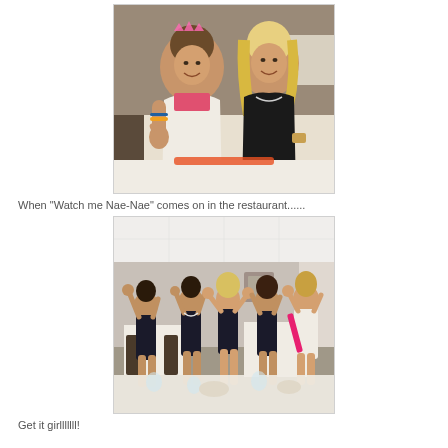[Figure (photo): Two women posing together at a restaurant table, smiling. One wearing white with a tiara, giving thumbs up, the other in a black strapless dress.]
When "Watch me Nae-Nae" comes on in the restaurant......
[Figure (photo): Group of five women dancing in a restaurant/banquet room, all wearing black dresses, raising their arms and dancing.]
Get it girlllllll!